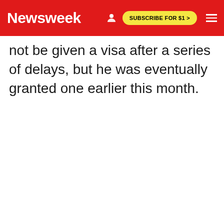Newsweek | SUBSCRIBE FOR $1 >
not be given a visa after a series of delays, but he was eventually granted one earlier this month.